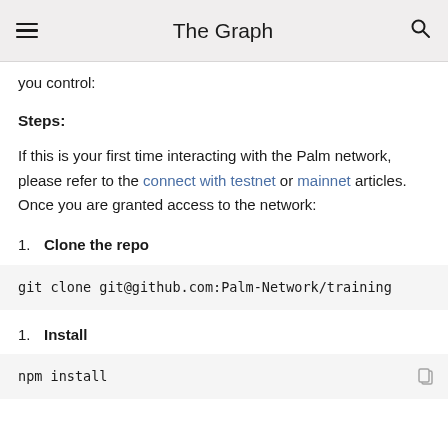The Graph
you control:
Steps:
If this is your first time interacting with the Palm network, please refer to the connect with testnet or mainnet articles. Once you are granted access to the network:
1. Clone the repo
git clone git@github.com:Palm-Network/training
1. Install
npm install